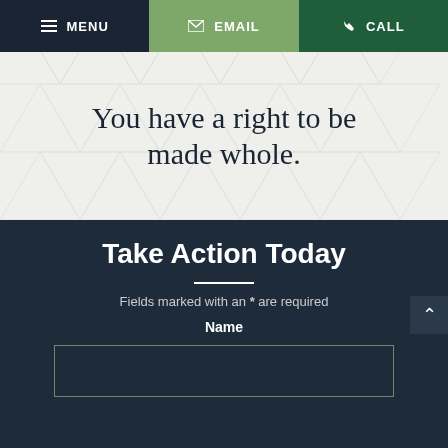MENU  EMAIL  CALL
You have a right to be made whole.
Take Action Today
Fields marked with an * are required
Name